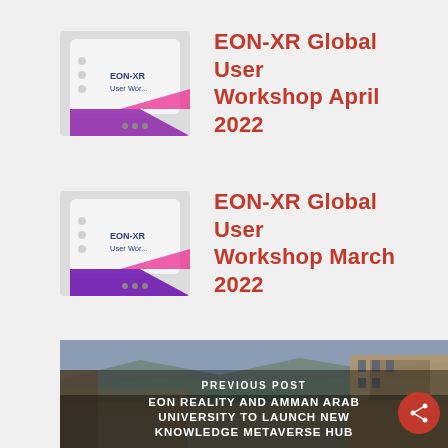EON-XR Global User Workshop April 2022
EON-XR Global User Workshop March 2022
[Figure (photo): Aerial view of Amman Arab University campus with buildings and surrounding landscape]
PREVIOUS POST
EON REALITY AND AMMAN ARAB UNIVERSITY TO LAUNCH NEW KNOWLEDGE METAVERSE HUB